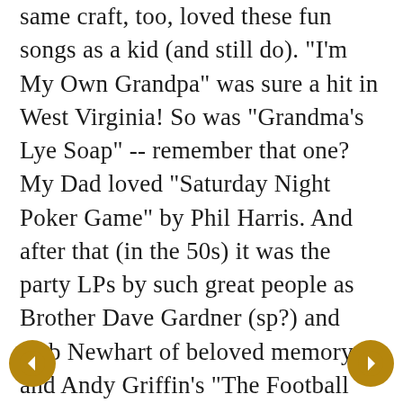same craft, too, loved these fun songs as a kid (and still do). "I'm My Own Grandpa" was sure a hit in West Virginia! So was "Grandma's Lye Soap" -- remember that one? My Dad loved "Saturday Night Poker Game" by Phil Harris. And after that (in the 50s) it was the party LPs by such great people as Brother Dave Gardner (sp?) and Bob Newhart of beloved memory and Andy Griffin's "The Football Game" Wow -- bunch of memories here. Thanks for the lists of where to find these. I have some CDs of old radio shows with some of these on them. !! Miki